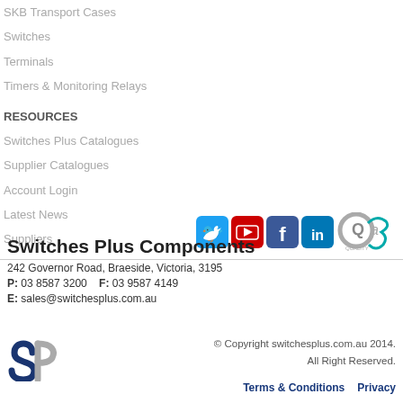SKB Transport Cases
Switches
Terminals
Timers & Monitoring Relays
RESOURCES
Switches Plus Catalogues
Supplier Catalogues
Account Login
Latest News
Suppliers
[Figure (logo): Social media icons: Twitter, YouTube, Facebook, LinkedIn; QA Quality Assurance logo]
Switches Plus Components
242 Governor Road, Braeside, Victoria, 3195
P: 03 8587 3200   F: 03 9587 4149
E: sales@switchesplus.com.au
[Figure (logo): SP logo in dark blue and grey]
© Copyright switchesplus.com.au 2014. All Right Reserved.
Terms & Conditions   Privacy